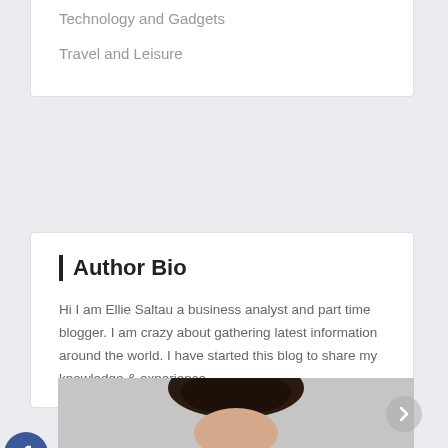Technology and Gadgets
Travel and Leisure
Author Bio
Hi I am Ellie Saltau a business analyst and part time blogger. I am crazy about gathering latest information around the world. I have started this blog to share my knowledge & experience.
[Figure (photo): Portrait photo of Ellie Saltau, a woman with dark hair, shown from shoulders up against a grey background]